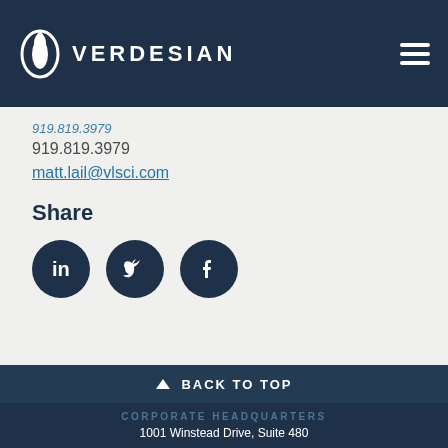VERDESIAN
919.819.3979
matt.lail@vlsci.com
Share
[Figure (other): Social media icons: LinkedIn, Twitter, Facebook — white icons on dark navy circular backgrounds]
BACK TO TOP
CORPORATE HEADQUARTERS
1001 Winstead Drive, Suite 480